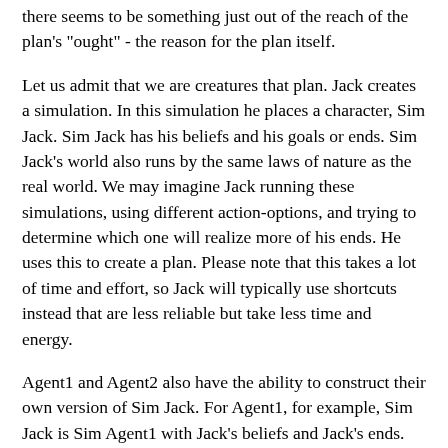there seems to be something just out of the reach of the plan's "ought" - the reason for the plan itself.
Let us admit that we are creatures that plan. Jack creates a simulation. In this simulation he places a character, Sim Jack. Sim Jack has his beliefs and his goals or ends. Sim Jack's world also runs by the same laws of nature as the real world. We may imagine Jack running these simulations, using different action-options, and trying to determine which one will realize more of his ends. He uses this to create a plan. Please note that this takes a lot of time and effort, so Jack will typically use shortcuts instead that are less reliable but take less time and energy.
Agent1 and Agent2 also have the ability to construct their own version of Sim Jack. For Agent1, for example, Sim Jack is Sim Agent1 with Jack's beliefs and Jack's ends. Agent2 can also create a Sim Jack. Once constructed, they can each run Sim Jack through their iPhone simulations testing different actions. Our Agents can test their simulations by using historical data and determining if the simulation correctly predicts historical results. In doing this, note that